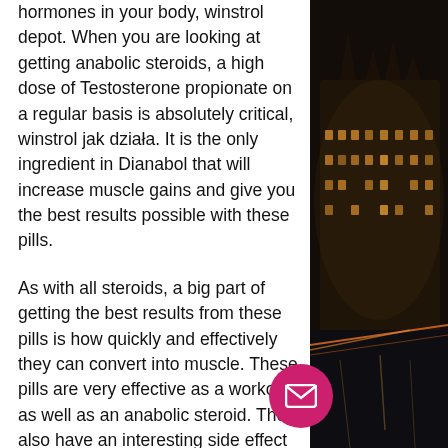hormones in your body, winstrol depot. When you are looking at getting anabolic steroids, a high dose of Testosterone propionate on a regular basis is absolutely critical, winstrol jak działa. It is the only ingredient in Dianabol that will increase muscle gains and give you the best results possible with these pills.
As with all steroids, a big part of getting the best results from these pills is how quickly and effectively they can convert into muscle. These pills are very effective as a workout, as well as an anabolic steroid. They also have an interesting side effect that has been reported on Dianabol users, called tachycardia, what is stanozolol used for in bodybuilding. This is a form of hypertension. Tachycardia does increase blood pressure in some people, but it is less likely in women and more likely in men.
[Figure (photo): Night photo of illuminated gothic building (likely Houses of Parliament, London) with light trails on a bridge, dark sky background]